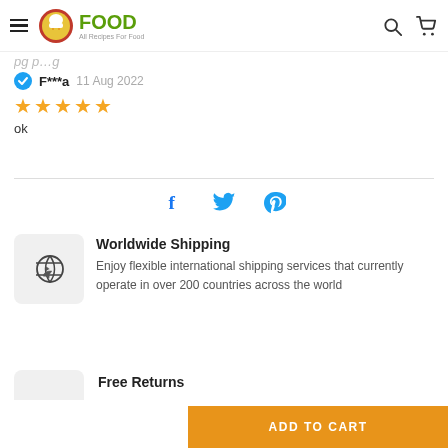FOOD All Recipes For Food
(partial/cropped heading text)
F***a  11 Aug 2022
★★★★★
ok
[Figure (infographic): Social share icons: Facebook (f), Twitter (bird), Pinterest (p)]
[Figure (infographic): Worldwide Shipping icon: airplane in gray box]
Worldwide Shipping
Enjoy flexible international shipping services that currently operate in over 200 countries across the world
Free Returns
ADD TO CART